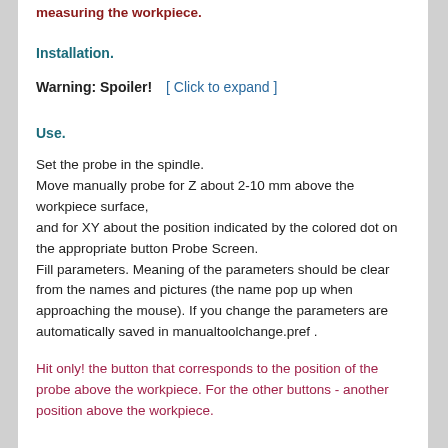measuring the workpiece.
Installation.
Warning: Spoiler!   [ Click to expand ]
Use.
Set the probe in the spindle.
Move manually probe for Z about 2-10 mm above the workpiece surface,
and for XY about the position indicated by the colored dot on the appropriate button Probe Screen.
Fill parameters. Meaning of the parameters should be clear from the names and pictures (the name pop up when approaching the mouse). If you change the parameters are automatically saved in manualtoolchange.pref .
Hit only! the button that corresponds to the position of the probe above the workpiece. For the other buttons - another position above the workpiece.